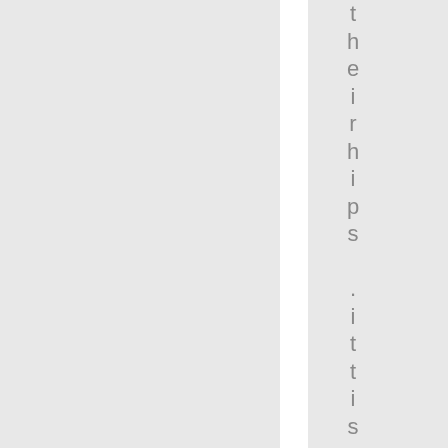their hips .ittisafairbettyouwou